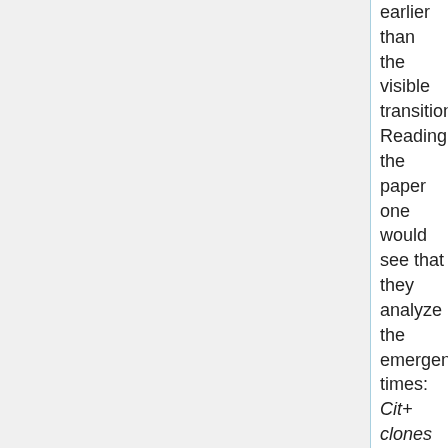earlier than the visible transition. Reading the paper one would see that they analyze the emergence times: Cit+ clones could be readily isolated from the frozen sample of population Ara-3 taken at generation 33,000. To estimate the time of origin of the Cit+ trait, we screened [...]